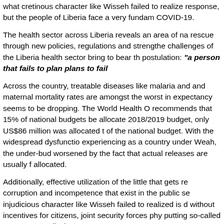what cretinous character like Wisseh failed to realize response, but the people of Liberia face a very fundamental COVID-19.
The health sector across Liberia reveals an area of national rescue through new policies, regulations and strengthening challenges of the Liberia health sector bring to bear the postulation: "a person that fails to plan plans to fail"
Across the country, treatable diseases like malaria and maternal mortality rates are amongst the worst in expectancy seems to be dropping. The World Health Organization recommends that 15% of national budgets be allocated to health. In the 2018/2019 budget, only US$86 million was allocated to health, less than 10% of the national budget. With the widespread dysfunction Liberia is experiencing as a country under Weah, the under-budgeting of health is worsened by the fact that actual releases are usually far less than what is allocated.
Additionally, effective utilization of the little that gets released is hampered by corruption and incompetence that exist in the public sector. What this injudicious character like Wisseh failed to realized is doing the right things without incentives for citizens, joint security forces physically enforcing, putting so-called 6000 Non-medical contact tracers on...